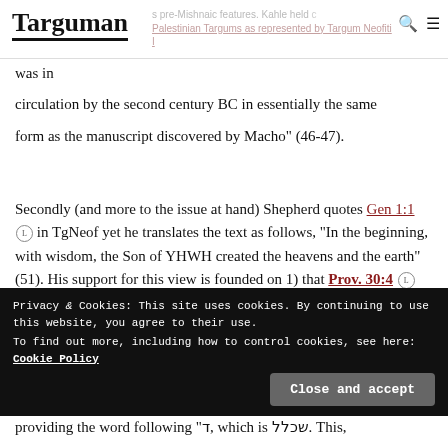Targuman
pre-Mishnaic features. Kahle held c Palestinian Targums as represented by Targum Neofiti I was in circulation by the second century BC in essentially the same form as the manuscript discovered by Macho" (46-47).
Secondly (and more to the issue at hand) Shepherd quotes Gen 1:1 in TgNeof yet he translates the text as follows, "In the beginning, with wisdom, the Son of YHWH created the heavens and the earth" (51). His support for this view is founded on 1) that Prov. 30:4
providing the word following "ד, which is שכלל. This,